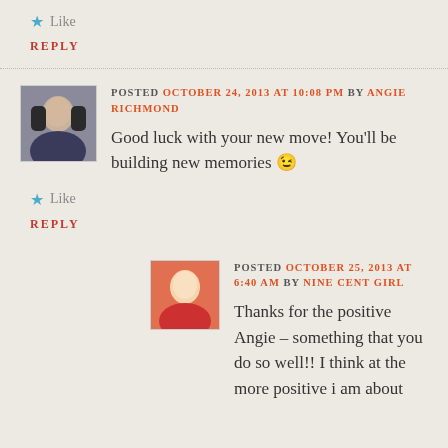★ Like
REPLY
POSTED OCTOBER 24, 2013 AT 10:08 PM BY ANGIE RICHMOND
Good luck with your new move! You'll be building new memories 😉
★ Like
REPLY
POSTED OCTOBER 25, 2013 AT 6:40 AM BY NINE CENT GIRL
Thanks for the positive Angie – something that you do so well!! I think at the more positive i am about...